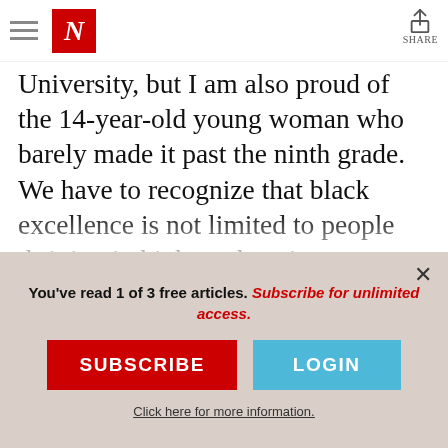Newsweek navigation bar with hamburger menu, N logo, and share button
University, but I am also proud of the 14-year-old young woman who barely made it past the ninth grade. We have to recognize that black excellence is not limited to people thriving in higher education, appearing on talk shows, or becoming multimillionaires. Black excellence comes in all forms. Being black and alive in a country that wants to see you fold at the hands of oppression is
You've read 1 of 3 free articles. Subscribe for unlimited access.
SUBSCRIBE
LOGIN
Click here for more information.